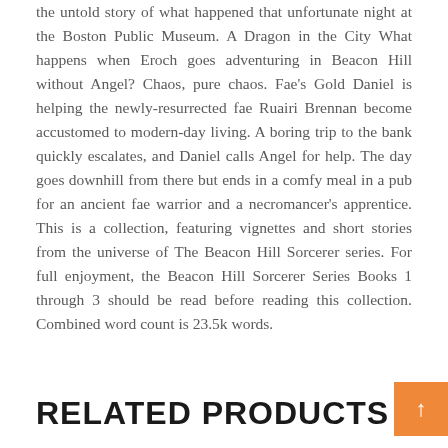the untold story of what happened that unfortunate night at the Boston Public Museum. A Dragon in the City What happens when Eroch goes adventuring in Beacon Hill without Angel? Chaos, pure chaos. Fae's Gold Daniel is helping the newly-resurrected fae Ruairi Brennan become accustomed to modern-day living. A boring trip to the bank quickly escalates, and Daniel calls Angel for help. The day goes downhill from there but ends in a comfy meal in a pub for an ancient fae warrior and a necromancer's apprentice. This is a collection, featuring vignettes and short stories from the universe of The Beacon Hill Sorcerer series. For full enjoyment, the Beacon Hill Sorcerer Series Books 1 through 3 should be read before reading this collection. Combined word count is 23.5k words.
RELATED PRODUCTS